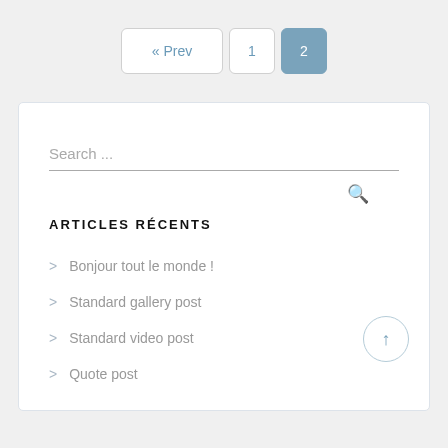« Prev
1
2
Search ...
ARTICLES RÉCENTS
> Bonjour tout le monde !
> Standard gallery post
> Standard video post
> Quote post